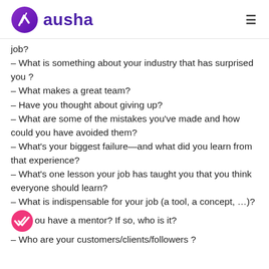ausha
job?
– What is something about your industry that has surprised you ?
– What makes a great team?
– Have you thought about giving up?
– What are some of the mistakes you've made and how could you have avoided them?
– What's your biggest failure—and what did you learn from that experience?
– What's one lesson your job has taught you that you think everyone should learn?
– What is indispensable for your job (a tool, a concept, …)?
– Do you have a mentor? If so, who is it?
– Who are your customers/clients/followers ?